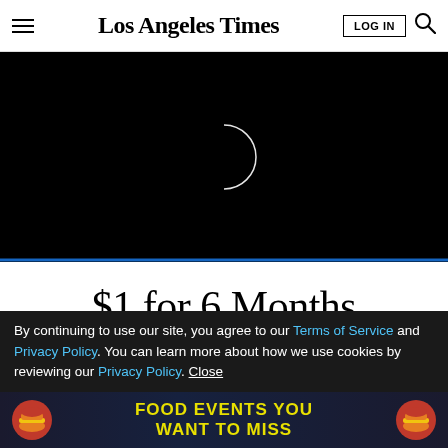Los Angeles Times — LOG IN
[Figure (photo): Dark/black background with a white crescent moon shape visible in the center]
$1 for 6 Months
SUBSCRIBE NOW
By continuing to use our site, you agree to our Terms of Service and Privacy Policy. You can learn more about how we use cookies by reviewing our Privacy Policy. Close
[Figure (photo): Advertisement banner: FOOD EVENTS YOU WANT TO MISS with burger graphics]